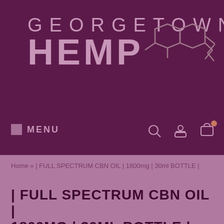[Figure (logo): Georgetown Hemp logo with cannabis molecule graphic on dark purple background]
MENU
Home » | FULL SPECTRUM CBN OIL | 1800mg | 30ml BOTTLE |
| FULL SPECTRUM CBN OIL | 1800MG | 30ML BOTTLE |